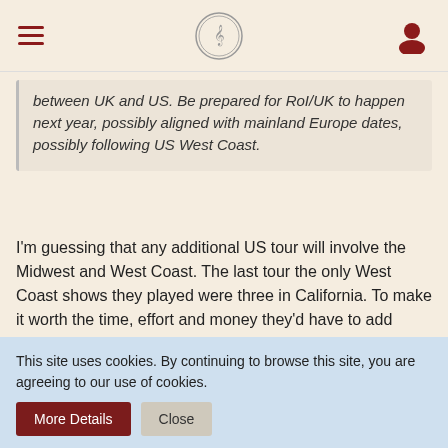Navigation bar with hamburger menu, logo, and user icon
between UK and US. Be prepared for RoI/UK to happen next year, possibly aligned with mainland Europe dates, possibly following US West Coast.
I'm guessing that any additional US tour will involve the Midwest and West Coast. The last tour the only West Coast shows they played were three in California. To make it worth the time, effort and money they'd have to add cities like Chicago, Detroit, Milwaukee, Dallas, Houston, St. Louis and Denver.
FirthOfFifth likes this.
nes75
This site uses cookies. By continuing to browse this site, you are agreeing to our use of cookies.